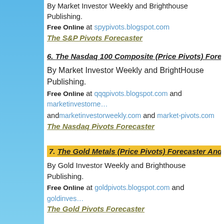By Market Investor Weekly and Brighthouse Publishing. Free Online at spypivots.blogspot.com
The S&P Pivots Forecaster
6. The Nasdaq 100 Composite (Price Pivots) Forecaster and Positi…
By Market Investor Weekly and BrightHouse Publishing.
Free Online at qqqpivots.blogspot.com and marketinvestorne… and marketinvestorweekly.com and market-pivots.com
The Nasdaq Pivots Forecaster
7. The Gold Metals (Price Pivots) Forecaster And Position…
By Gold Investor Weekly and Brighthouse Publishing. Free Online at goldpivots.blogspot.com and goldinves…
The Gold Pivots Forecaster
8. The Silver Metals (Price Pivots) Forecaster And… Newsletter
By Silver Investor Weekly and Brighthouse Publishing. Free Online at silverpivots.blogspot.com and silverinvest…
The Silver Pivots Forecaster